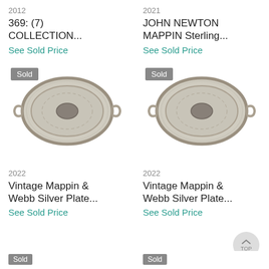2012
369: (7) COLLECTION...
See Sold Price
2021
JOHN NEWTON MAPPIN Sterling...
See Sold Price
[Figure (photo): Oval silver-plated tray with handles and decorative pattern, 'Sold' badge overlay]
[Figure (photo): Oval silver-plated tray with handles and decorative pattern, 'Sold' badge overlay]
2022
Vintage Mappin & Webb Silver Plate...
See Sold Price
2022
Vintage Mappin & Webb Silver Plate...
See Sold Price